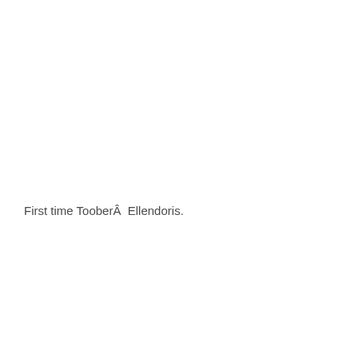First time TooberÂ  Ellendoris.